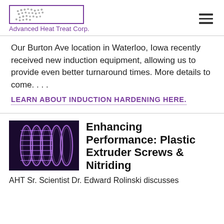Advanced Heat Treat Corp.
Our Burton Ave location in Waterloo, Iowa recently received new induction equipment, allowing us to provide even better turnaround times. More details to come. . . .
LEARN ABOUT INDUCTION HARDENING HERE.
[Figure (photo): Purple-lit industrial coils or induction heating elements, dark background]
Enhancing Performance: Plastic Extruder Screws & Nitriding
AHT Sr. Scientist Dr. Edward Rolinski discusses